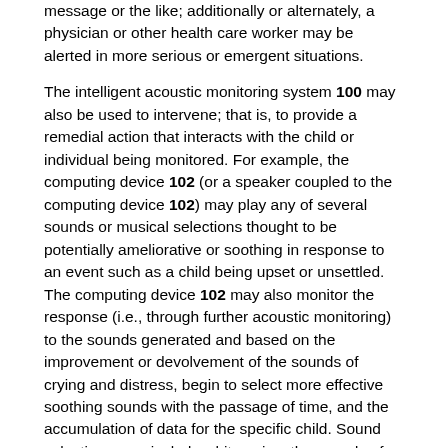message or the like; additionally or alternately, a physician or other health care worker may be alerted in more serious or emergent situations.
The intelligent acoustic monitoring system 100 may also be used to intervene; that is, to provide a remedial action that interacts with the child or individual being monitored. For example, the computing device 102 (or a speaker coupled to the computing device 102) may play any of several sounds or musical selections thought to be potentially ameliorative or soothing in response to an event such as a child being upset or unsettled. The computing device 102 may also monitor the response (i.e., through further acoustic monitoring) to the sounds generated and based on the improvement or devolvement of the sounds of crying and distress, begin to select more effective soothing sounds with the passage of time, and the accumulation of data for the specific child. Sound selections may include white noise, the sounds of water or wind, birdsong, music from any of many genres and cultural origins, as well as recordings of people's voices, whether talking or singing to the child.
In particular embodiments, the computing device 102 plays